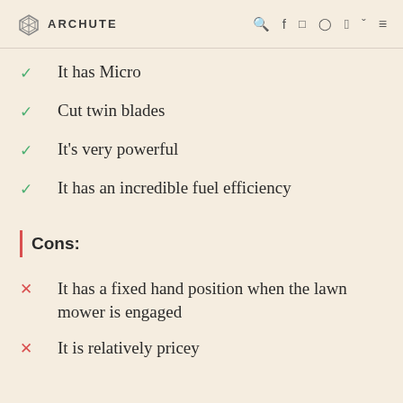ARCHUTE
It has Micro
Cut twin blades
It's very powerful
It has an incredible fuel efficiency
Cons:
It has a fixed hand position when the lawn mower is engaged
It is relatively pricey